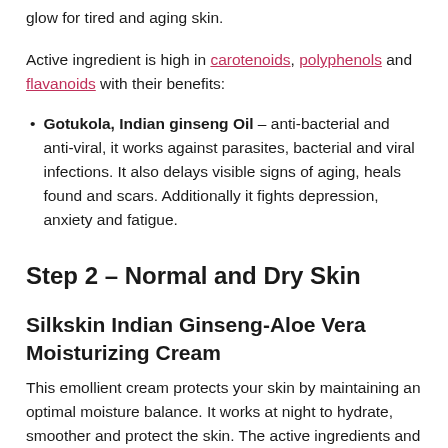glow for tired and aging skin.
Active ingredient is high in carotenoids, polyphenols and flavanoids with their benefits:
Gotukola, Indian ginseng Oil – anti-bacterial and anti-viral, it works against parasites, bacterial and viral infections. It also delays visible signs of aging, heals found and scars. Additionally it fights depression, anxiety and fatigue.
Step 2 – Normal and Dry Skin
Silkskin Indian Ginseng-Aloe Vera Moisturizing Cream
This emollient cream protects your skin by maintaining an optimal moisture balance. It works at night to hydrate, smoother and protect the skin. The active ingredients and their benefits: